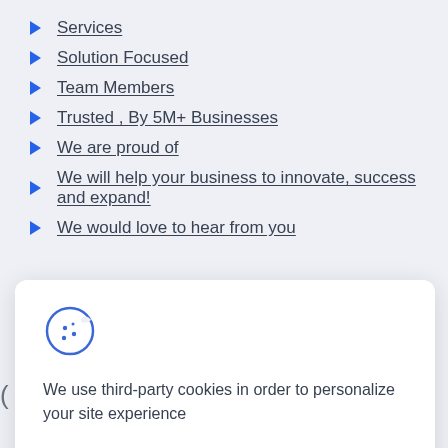Services
Solution Focused
Team Members
Trusted , By 5M+ Businesses
We are proud of
We will help your business to innovate, success and expand!
We would love to hear from you
[Figure (other): Cookie consent dialog with cookie icon, text 'We use third-party cookies in order to personalize your site experience', and two buttons: Allow (blue) and Decline (green)]